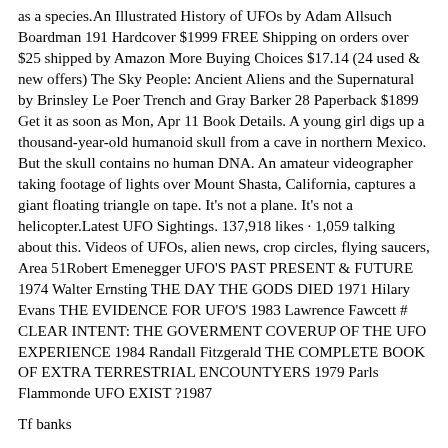as a species.An Illustrated History of UFOs by Adam Allsuch Boardman 191 Hardcover $1999 FREE Shipping on orders over $25 shipped by Amazon More Buying Choices $17.14 (24 used & new offers) The Sky People: Ancient Aliens and the Supernatural by Brinsley Le Poer Trench and Gray Barker 28 Paperback $1899 Get it as soon as Mon, Apr 11 Book Details. A young girl digs up a thousand-year-old humanoid skull from a cave in northern Mexico. But the skull contains no human DNA. An amateur videographer taking footage of lights over Mount Shasta, California, captures a giant floating triangle on tape. It's not a plane. It's not a helicopter.Latest UFO Sightings. 137,918 likes · 1,059 talking about this. Videos of UFOs, alien news, crop circles, flying saucers, Area 51Robert Emenegger UFO'S PAST PRESENT & FUTURE 1974 Walter Ernsting THE DAY THE GODS DIED 1971 Hilary Evans THE EVIDENCE FOR UFO'S 1983 Lawrence Fawcett # CLEAR INTENT: THE GOVERMENT COVERUP OF THE UFO EXPERIENCE 1984 Randall Fitzgerald THE COMPLETE BOOK OF EXTRA TERRESTRIAL ENCOUNTYERS 1979 Parls Flammonde UFO EXIST ?1987
Tf banks
The Unsolved Mystery of the Lubbock Lights UFO Sightings. Hundreds of people, including several university scientists, witnessed the flying blue-green lights in August 1951. One person reported they Identified Flying Objects and Mr. Evans Barker...